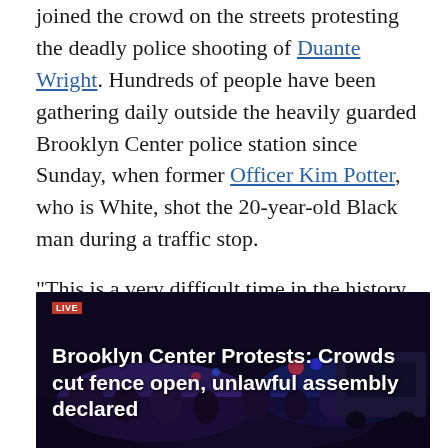joined the crowd on the streets protesting the deadly police shooting of Duante Wright. Hundreds of people have been gathering daily outside the heavily guarded Brooklyn Center police station since Sunday, when former Officer Kim Potter, who is White, shot the 20-year-old Black man during a traffic stop.
"This is a very difficult time in the history of this country," Waters said. "We have to let people know that we are not going to be satisfied unless we get justice in these cases."
[Figure (photo): Night-time protest scene with crowds and police lights. News chyron overlay reads: 'Brooklyn Center Protests: Crowds cut fence open, unlawful assembly declared'. LIVE badge visible in top-left corner.]